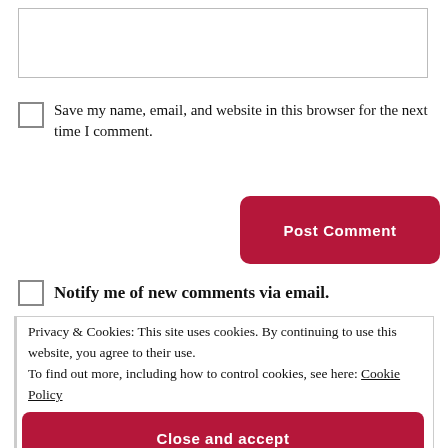[Figure (screenshot): Text input box (comment field), empty, with light grey border]
Save my name, email, and website in this browser for the next time I comment.
Post Comment
Notify me of new comments via email.
Privacy & Cookies: This site uses cookies. By continuing to use this website, you agree to their use.
To find out more, including how to control cookies, see here: Cookie Policy
Close and accept